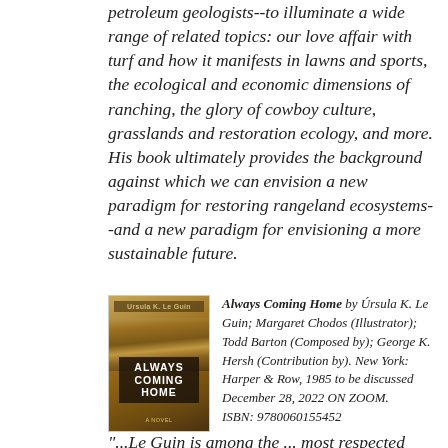petroleum geologists--to illuminate a wide range of related topics: our love affair with turf and how it manifests in lawns and sports, the ecological and economic dimensions of ranching, the glory of cowboy culture, grasslands and restoration ecology, and more. His book ultimately provides the background against which we can envision a new paradigm for restoring rangeland ecosystems--and a new paradigm for envisioning a more sustainable future.
[Figure (photo): Book cover of 'Always Coming Home' by Ursula K. Le Guin, showing a landscape with golden grassy hills and a dark title block.]
Always Coming Home by Úrsula K. Le Guin; Margaret Chodos (Illustrator); Todd Barton (Composed by); George K. Hersh (Contribution by). New York: Harper & Row, 1985 to be discussed December 28, 2022 ON ZOOM. ISBN: 9780060155452
“...Le Guin is among the ... most respected American writers who regularly set their narrative in the future to force a dialogue with the here